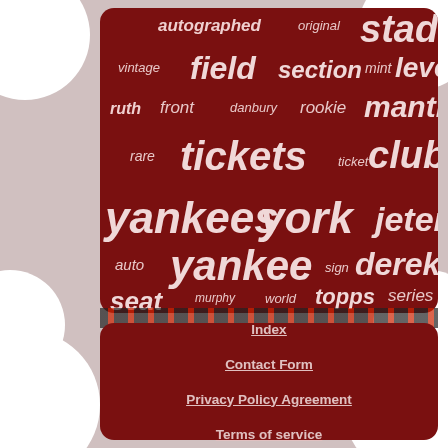[Figure (infographic): Word cloud on dark red background with Yankees baseball-related terms in varying sizes. Words include: stadium, autographed, original, vintage, field, section, mint, level, ruth, front, danbury, rookie, mantle, rare, tickets, ticket, club, yankees, york, jeter, auto, yankee, sign, derek, seat, murphy, world, topps, series]
Index
Contact Form
Privacy Policy Agreement
Terms of service